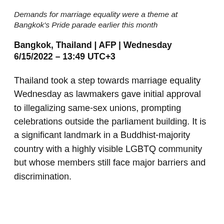Demands for marriage equality were a theme at Bangkok's Pride parade earlier this month
Bangkok, Thailand | AFP | Wednesday 6/15/2022 – 13:49 UTC+3
Thailand took a step towards marriage equality Wednesday as lawmakers gave initial approval to illegalizing same-sex unions, prompting celebrations outside the parliament building. It is a significant landmark in a Buddhist-majority country with a highly visible LGBTQ community but whose members still face major barriers and discrimination.